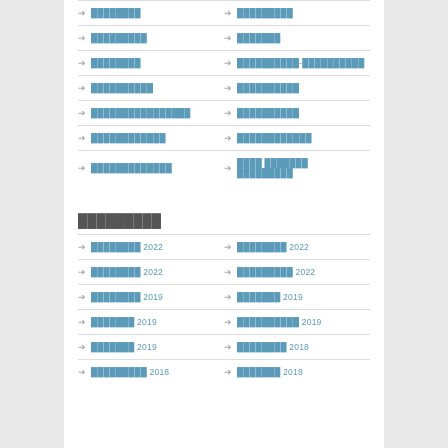▶ ████████
▶ █████████
▶ █████████
▶ ███████
▶ ████████
▶ ██████████-██████████
▶ ██████████
▶ ██████████
▶ ████████████████
▶ ██████████
▶ ████████████
▶ ████████████
▶ █████████████
▶ ████ ███████ █████████
█████████
▶ ████████ 2022
▶ ████████ 2022
▶ ████████ 2022
▶ █████████ 2022
▶ ████████ 2019
▶ ███████ 2019
▶ ███████ 2019
▶ ██████████ 2019
▶ ███████ 2019
▶ ████████ 2018
▶ █████████ 2018
▶ ███████ 2018